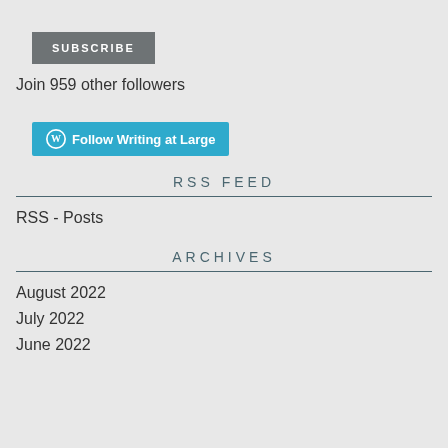SUBSCRIBE
Join 959 other followers
Follow Writing at Large
RSS FEED
RSS - Posts
ARCHIVES
August 2022
July 2022
June 2022